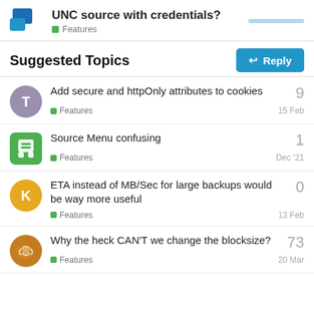UNC source with credentials? Features
Suggested Topics
Add secure and httpOnly attributes to cookies | Features | 15 Feb | 9 replies
Source Menu confusing | Features | Dec '21 | 1 reply
ETA instead of MB/Sec for large backups would be way more useful | Features | 13 Feb | 0 replies
Why the heck CAN'T we change the blocksize? | Features | 20 Mar | 73 replies